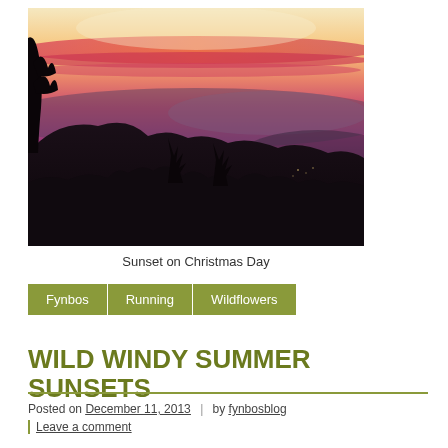[Figure (photo): Sunset landscape photo showing silhouette of trees and hills with a lake/pond reflection and vivid pink-orange-yellow sky at dusk, captioned 'Sunset on Christmas Day']
Sunset on Christmas Day
Fynbos
Running
Wildflowers
WILD WINDY SUMMER SUNSETS
Posted on December 11, 2013 | by fynbosblog
Leave a comment